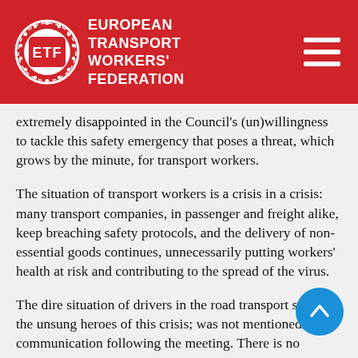EUROPEAN TRANSPORT WORKERS' FEDERATION
extremely disappointed in the Council's (un)willingness to tackle this safety emergency that poses a threat, which grows by the minute, for transport workers.
The situation of transport workers is a crisis in a crisis: many transport companies, in passenger and freight alike, keep breaching safety protocols, and the delivery of non-essential goods continues, unnecessarily putting workers' health at risk and contributing to the spread of the virus.
The dire situation of drivers in the road transport sector: the unsung heroes of this crisis; was not mentioned in the communication following the meeting. There is no reference to concrete measures concerning drivers' protection, their health and safety. Drivers are delivering the crucial supplies we depend on for our survival. Our full statement can be be found here, and details what exactly an action plan to protect our drivers must entail.